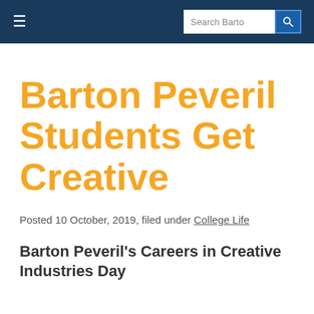Search Barto
Barton Peveril Students Get Creative
Posted 10 October, 2019, filed under College Life
Barton Peveril's Careers in Creative Industries Day